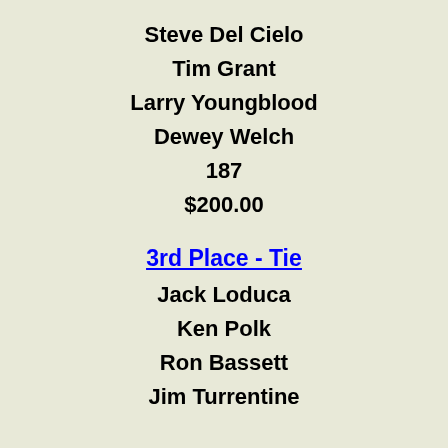Steve Del Cielo
Tim Grant
Larry Youngblood
Dewey Welch
187
$200.00
3rd Place - Tie
Jack Loduca
Ken Polk
Ron Bassett
Jim Turrentine